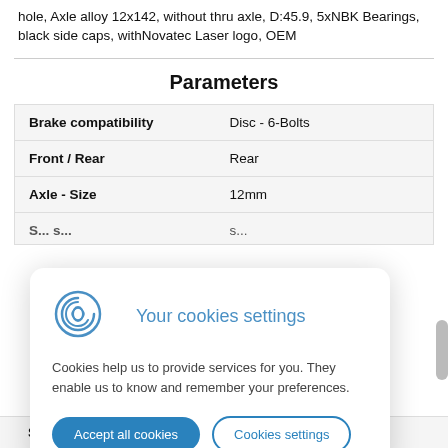hole, Axle alloy 12x142, without thru axle, D:45.9, 5xNBK Bearings, black side caps, withNovatec Laser logo, OEM
Parameters
| Parameter | Value |
| --- | --- |
| Brake compatibility | Disc - 6-Bolts |
| Front / Rear | Rear |
| Axle - Size | 12mm |
| Spacing O.L.D. | 142mm |
Your cookies settings
Cookies help us to provide services for you. They enable us to know and remember your preferences.